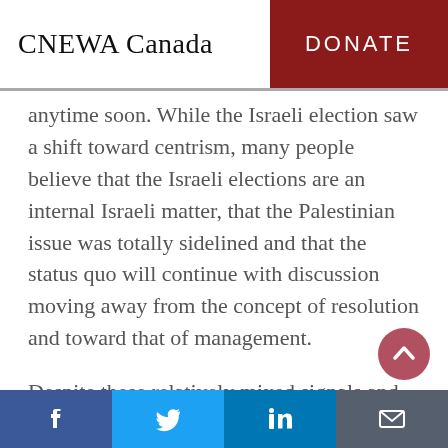CNEWA Canada | DONATE
anytime soon. While the Israeli election saw a shift toward centrism, many people believe that the Israeli elections are an internal Israeli matter, that the Palestinian issue was totally sidelined and that the status quo will continue with discussion moving away from the concept of resolution and toward that of management.
Despite these relatively mixed signals and the harsh reality on the ground, I was pleased to have had the opportunity to visit with all our partners there who are implementing the